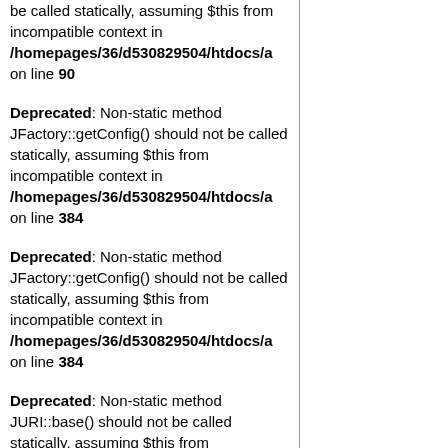be called statically, assuming $this from incompatible context in /homepages/36/d530829504/htdocs/a on line 90
Deprecated: Non-static method JFactory::getConfig() should not be called statically, assuming $this from incompatible context in /homepages/36/d530829504/htdocs/a on line 384
Deprecated: Non-static method JFactory::getConfig() should not be called statically, assuming $this from incompatible context in /homepages/36/d530829504/htdocs/a on line 384
Deprecated: Non-static method JURI::base() should not be called statically, assuming $this from incompatible context in /homepages/36/d530829504/htdocs/a on line 109
Deprecated: Non-static method JRegistryFormat::getInstance() should not be called statically,